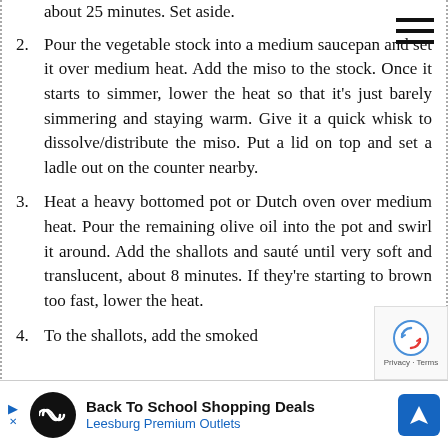about 25 minutes. Set aside.
2. Pour the vegetable stock into a medium saucepan and set it over medium heat. Add the miso to the stock. Once it starts to simmer, lower the heat so that it’s just barely simmering and staying warm. Give it a quick whisk to dissolve/distribute the miso. Put a lid on top and set a ladle out on the counter nearby.
3. Heat a heavy bottomed pot or Dutch oven over medium heat. Pour the remaining olive oil into the pot and swirl it around. Add the shallots and sauté until very soft and translucent, about 8 minutes. If they’re starting to brown too fast, lower the heat.
4. To the shallots, add the smoked
[Figure (other): Advertisement banner: Back To School Shopping Deals - Leesburg Premium Outlets]
[Figure (other): reCAPTCHA widget with rotating arrows icon and Privacy + Terms text]